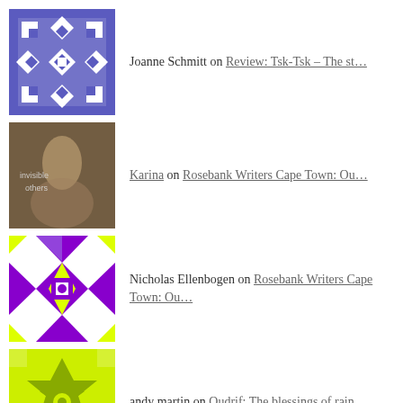Joanne Schmitt on Review: Tsk-Tsk – The st…
Karina on Rosebank Writers Cape Town: Ou…
Nicholas Ellenbogen on Rosebank Writers Cape Town: Ou…
andy martin on Oudrif: The blessings of rain
Carolynn Bruton on CLAWS: Clanwilliam Animal Welf…
ARCHIVES
August 2022
July 2022
June 2022